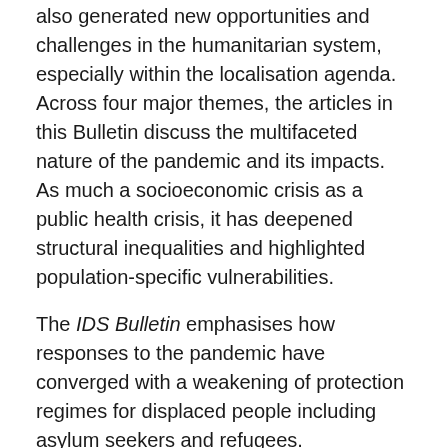also generated new opportunities and challenges in the humanitarian system, especially within the localisation agenda. Across four major themes, the articles in this Bulletin discuss the multifaceted nature of the pandemic and its impacts. As much a socioeconomic crisis as a public health crisis, it has deepened structural inequalities and highlighted population-specific vulnerabilities.
The IDS Bulletin emphasises how responses to the pandemic have converged with a weakening of protection regimes for displaced people including asylum seekers and refugees. Furthermore, it shows that the pandemic has presented an extraordinary crisis for the international humanitarian system, highlighting the failures of states and international humanitarian actors to provide needed assistance. Conversely, and most importantly, it argues that with the partial absence of state or international humanitarian responses, the pandemic has given unanticipated impetus to everyday forms of humanitarianism practised by and within local communities.